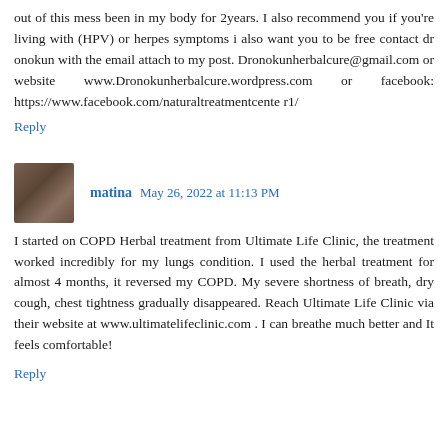out of this mess been in my body for 2years. I also recommend you if you're living with (HPV) or herpes symptoms i also want you to be free contact dr onokun with the email attach to my post. Dronokunherbalcure@gmail.com or website www.Dronokunherbalcure.wordpress.com or facebook: https://www.facebook.com/naturaltreatmentcenter1/
Reply
matina  May 26, 2022 at 11:13 PM
I started on COPD Herbal treatment from Ultimate Life Clinic, the treatment worked incredibly for my lungs condition. I used the herbal treatment for almost 4 months, it reversed my COPD. My severe shortness of breath, dry cough, chest tightness gradually disappeared. Reach Ultimate Life Clinic via their website at www.ultimatelifeclinic.com . I can breathe much better and It feels comfortable!
Reply